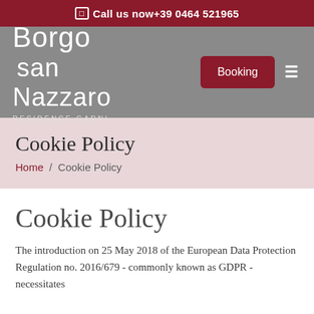Call us now+39 0464 521965
[Figure (logo): Borgo San Nazzaro Residence Garni logo in white text on grey background, with a red Booking button and hamburger menu icon]
Cookie Policy
Home / Cookie Policy
Cookie Policy
The introduction on 25 May 2018 of the European Data Protection Regulation no. 2016/679 - commonly known as GDPR - necessitates